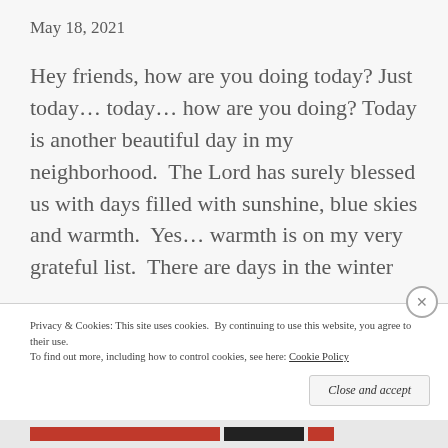May 18, 2021
Hey friends, how are you doing today? Just today… today… how are you doing? Today is another beautiful day in my neighborhood.  The Lord has surely blessed us with days filled with sunshine, blue skies and warmth.  Yes… warmth is on my very grateful list.  There are days in the winter
Privacy & Cookies: This site uses cookies.  By continuing to use this website, you agree to their use.
To find out more, including how to control cookies, see here: Cookie Policy
Close and accept